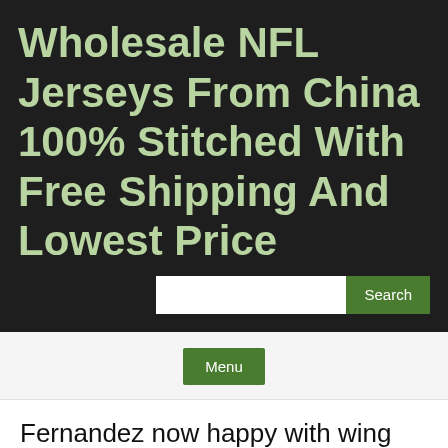Wholesale NFL Jerseys From China 100% Stitched With Free Shipping And Lowest Price
Menu
Fernandez now happy with wing role
June 22, 2022
In the games he has coached this season, his team has the third-best fourth-quarter net rating and his team has won 85% of